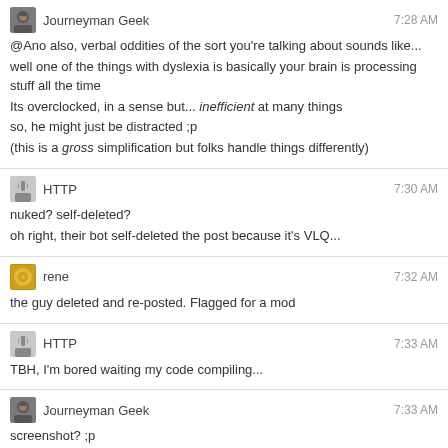Journeyman Geek 7:28 AM
@Ano also, verbal oddities of the sort you're talking about sounds like...
well one of the things with dyslexia is basically your brain is processing stuff all the time
Its overclocked, in a sense but... inefficient at many things
so, he might just be distracted ;p
(this is a gross simplification but folks handle things differently)
HTTP 7:30 AM
nuked? self-deleted?
oh right, their bot self-deleted the post because it's VLQ...
rene 7:32 AM
the guy deleted and re-posted. Flagged for a mod
HTTP 7:33 AM
TBH, I'm bored waiting my code compiling...
Journeyman Geek 7:33 AM
screenshot? ;p
rene 7:34 AM
Use a scripting language, they don't need compiling ....
they blow-up in the face of your users ...
Journeyman Geek 7:35 AM